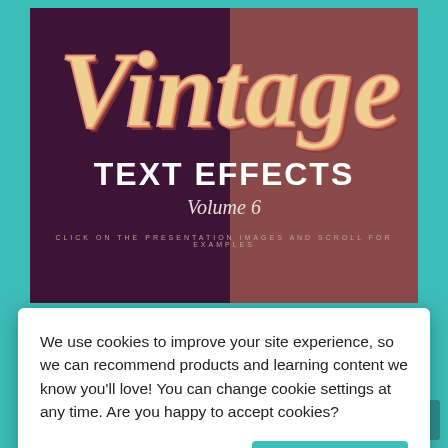[Figure (illustration): Vintage text effects product banner showing 'Vintage' in large decorative script across a split background of dark purple and warm brown, with 'TEXT EFFECTS Volume 6' subtitle and small instructional text]
We use cookies to improve your site experience, so we can recommend products and learning content we know you'll love! You can change cookie settings at any time. Are you happy to accept cookies?
Manage Cookie Preferences
Yes I'm Happy
ADD TO CART
TOP